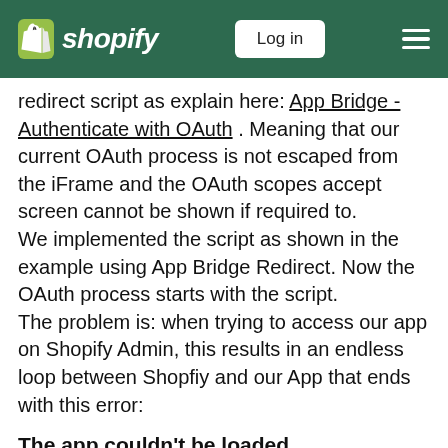Shopify | Log in
redirect script as explain here: App Bridge - Authenticate with OAuth . Meaning that our current OAuth process is not escaped from the iFrame and the OAuth scopes accept screen cannot be shown if required to.
We implemented the script as shown in the example using App Bridge Redirect. Now the OAuth process starts with the script.
The problem is: when trying to access our app on Shopify Admin, this results in an endless loop between Shopfiy and our App that ends with this error:
The app couldn't be loaded
This app can't load due to an issue with browser cookies. Try enabling cookies in your browser, switching to